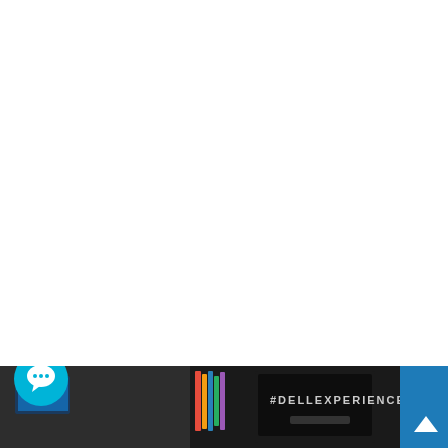[Figure (photo): Mostly white/blank page with a photo strip at the bottom showing Dell technology products/laptops on a table, with '#DELLEXPERIENCE' text visible on a monitor screen. A cyan chat bubble icon appears in the lower left, a close (X) button in the lower middle-right area, and a blue arrow button in the bottom-right corner.]